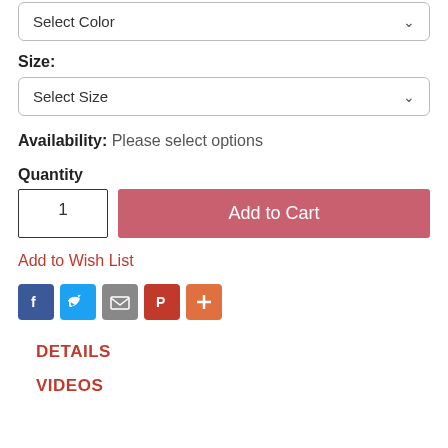Select Color (dropdown)
Size:
Select Size (dropdown)
Availability: Please select options
Quantity
1
Add to Cart
Add to Wish List
[Figure (infographic): Social sharing icons: Facebook (blue), Twitter (light blue), Email (grey), Pinterest (red), More/Plus (orange)]
DETAILS
VIDEOS